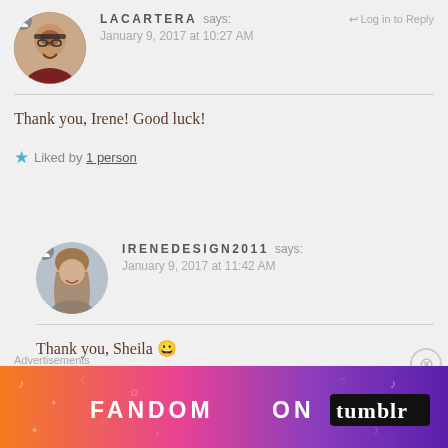[Figure (photo): Circular avatar photo of a smiling woman with glasses in a red top, with a small user icon overlay top-left]
LACARTERA says:   ↩ Log in to Reply
January 9, 2017 at 10:27 AM
Thank you, Irene! Good luck!
★ Liked by 1 person
[Figure (photo): Circular avatar photo of a woman with long hair, with a small user icon overlay top-left]
IRENEDESIGN2011 says:
January 9, 2017 at 11:42 AM
Thank you, Sheila 😀
★ Liked by 1 person
Advertisements
[Figure (illustration): Fandom on Tumblr advertisement banner with colorful gradient background (orange to purple) and white/black text reading FANDOM ON tumblr]